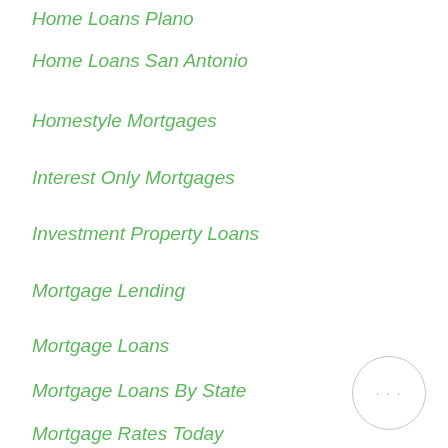Home Loans Plano
Home Loans San Antonio
Homestyle Mortgages
Interest Only Mortgages
Investment Property Loans
Mortgage Lending
Mortgage Loans
Mortgage Loans By State
Mortgage Rates Today
Mortgage Texas
Non QM Loans